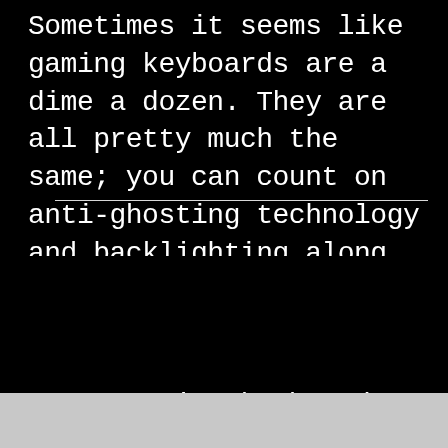Sometimes it seems like gaming keyboards are a dime a dozen. They are all pretty much the same; you can count on anti-ghosting technology and backlighting along with the ability to record macros on many keyboards. Mad Catz has a new gaming keyboard called the S.T.R.I.K.E. 5 that's welcomingly different.
[Figure (photo): Black background area with two horizontal white divider lines, likely separating article sections. Below dividers is a dark/black region, possibly for an image placeholder.]